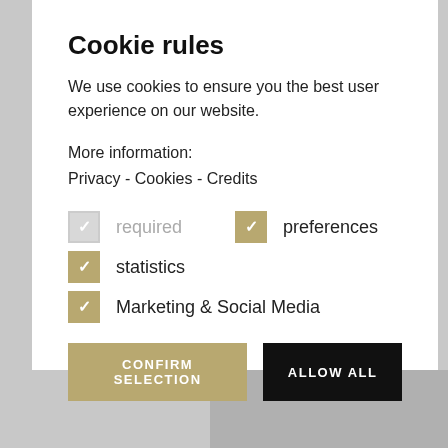Cookie rules
We use cookies to ensure you the best user experience on our website.
More information:
Privacy - Cookies - Credits
required (checkbox, grayed out/checked)
preferences (checkbox, checked)
statistics (checkbox, checked)
Marketing & Social Media (checkbox, checked)
CONFIRM SELECTION | ALLOW ALL